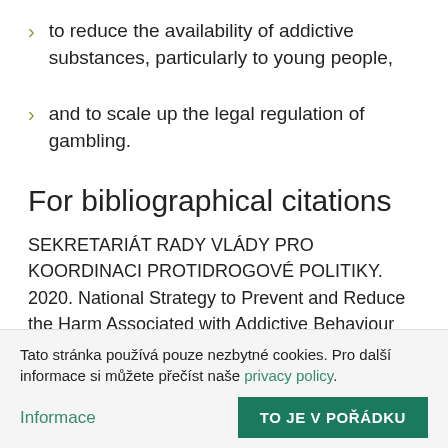to reduce the availability of addictive substances, particularly to young people,
and to scale up the legal regulation of gambling.
For bibliographical citations
SEKRETARIÁT RADY VLÁDY PRO KOORDINACI PROTIDROGOVÉ POLITIKY. 2020. National Strategy to Prevent and Reduce the Harm Associated with Addictive Behaviour 2019-2027. Praha: Úřad vlády
Tato stránka používá pouze nezbytné cookies. Pro další informace si můžete přečíst naše privacy policy.
Informace
TO JE V POŘÁDKU